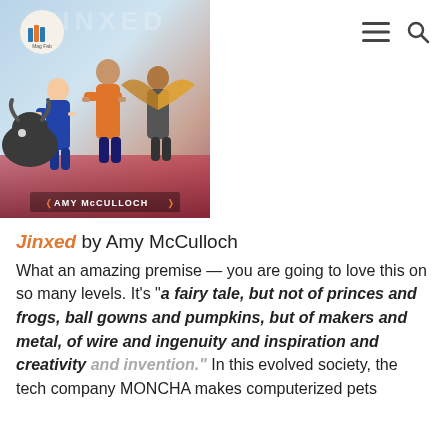[Figure (photo): Book cover of 'Jinxed' by Amy McCulloch showing illustrated characters including a person in orange and another with wings, with a creature, on a blue-red gradient background. The Magnificent Fab logo (books icon) is overlaid in the upper left area of the cover.]
Jinxed by Amy McCulloch
What an amazing premise — you are going to love this on so many levels. It's "a fairy tale, but not of princes and frogs, ball gowns and pumpkins, but of makers and metal, of wire and ingenuity and inspiration and creativity and invention." In this evolved society, the tech company MONCHA makes computerized pets